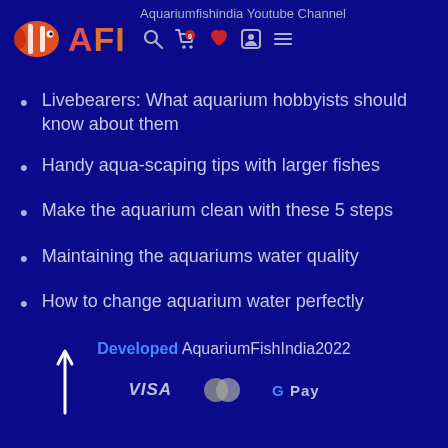Aquariumfishindia Youtube Channel AFI
Livebearers: What aquarium hobbyists should know about them
Handy aqua-scaping tips with larger fishes
Make the aquarium clean with these 5 steps
Maintaining the aquariums water quality
How to change aquarium water perfectly
Tips to keep fish happy and healthy inside the Aquarium
Developed AquariumFishIndia2022  VISA  Mastercard  G Pay